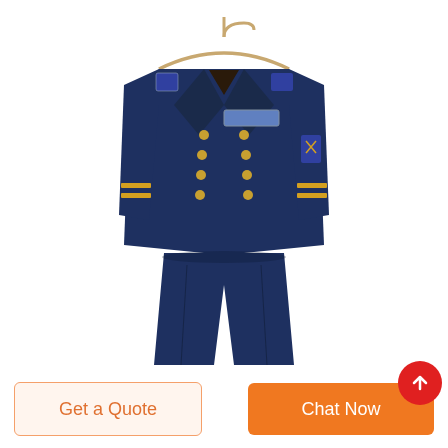[Figure (photo): A navy blue military-style dress uniform complete with double-breasted jacket with gold buttons, gold rank stripes on the sleeves, patches and insignia, displayed hanging on a wooden hanger. The matching navy trousers hang below the jacket. Background is white.]
Get a Quote
Chat Now